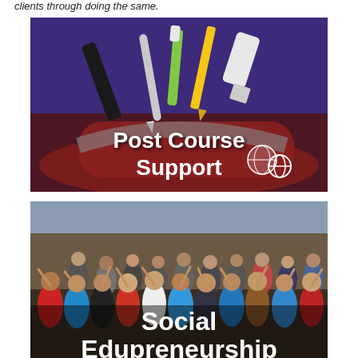clients through doing the same.
[Figure (photo): Swiss army knife with stationery tools (stapler, pen, pencil, marker, ruler) on a purple background with the text 'Post Course Support' overlaid in white bold text]
[Figure (photo): Group photo of approximately 30 people waving outdoors, with the text 'Social Edupreneurship' overlaid in white bold text at the bottom]